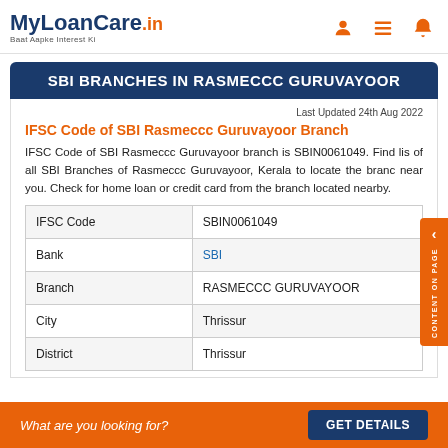MyLoanCare.in – Baat Aapke Interest Ki
SBI BRANCHES IN RASMECCC GURUVAYOOR
Last Updated 24th Aug 2022
IFSC Code of SBI Rasmeccc Guruvayoor Branch
IFSC Code of SBI Rasmeccc Guruvayoor branch is SBIN0061049. Find list of all SBI Branches of Rasmeccc Guruvayoor, Kerala to locate the branch near you. Check for home loan or credit card from the branch located nearby.
|  |  |
| --- | --- |
| IFSC Code | SBIN0061049 |
| Bank | SBI |
| Branch | RASMECCC GURUVAYOOR |
| City | Thrissur |
| District | Thrissur |
What are you looking for?
GET DETAILS